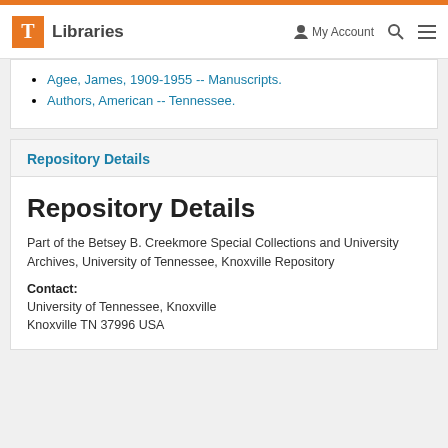T Libraries | My Account | Search | Menu
Agee, James, 1909-1955 -- Manuscripts.
Authors, American -- Tennessee.
Repository Details
Repository Details
Part of the Betsey B. Creekmore Special Collections and University Archives, University of Tennessee, Knoxville Repository
Contact: University of Tennessee, Knoxville Knoxville TN 37996 USA